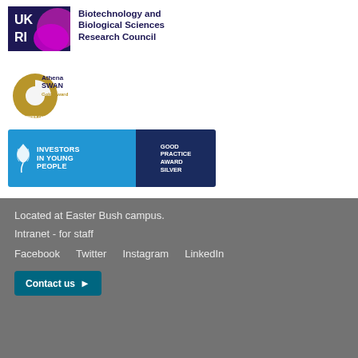[Figure (logo): UKRI logo - purple square with UK RI text in white, alongside Biotechnology and Biological Sciences Research Council text in dark navy]
[Figure (logo): Athena SWAN Gold Award logo - circular gold gender charter emblem with Athena SWAN Gold Award text]
[Figure (logo): Investors in Young People Good Practice Award Silver logo - blue rectangle with leaf emblem and text]
Located at Easter Bush campus.
Intranet - for staff
Facebook   Twitter   Instagram   LinkedIn
Contact us